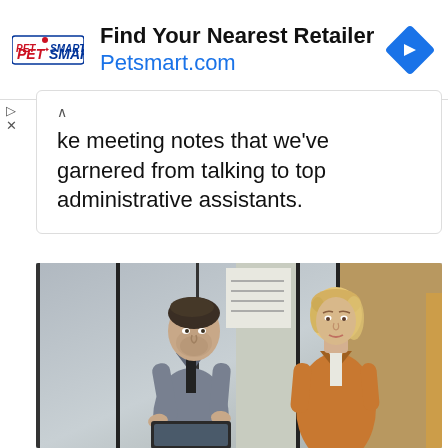[Figure (other): PetSmart advertisement banner with logo, text 'Find Your Nearest Retailer Petsmart.com', and a blue diamond navigation arrow icon]
ke meeting notes that we've garnered from talking to top administrative assistants.
[Figure (photo): Two office professionals, a man in a grey suit looking down at a tablet and a woman in an orange blazer, in a modern office environment]